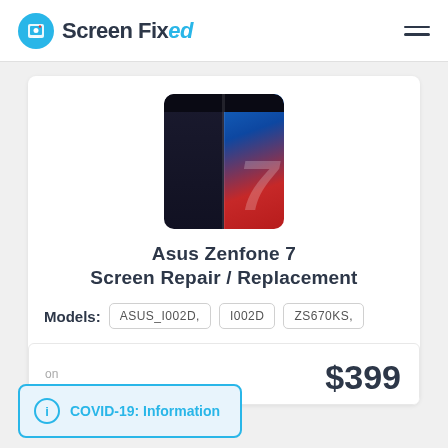Screen Fixed
[Figure (photo): Asus Zenfone 7 smartphone product image showing front and back of the phone with blue and red gradient design and large '7' numeral]
Asus Zenfone 7 Screen Repair / Replacement
Models: ASUS_I002D, I002D ZS670KS,
$399
on
COVID-19: Information